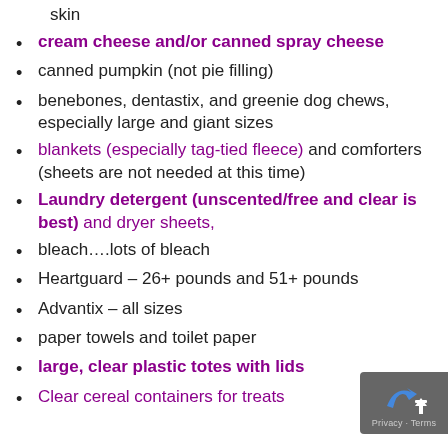skin
cream cheese and/or canned spray cheese
canned pumpkin (not pie filling)
benebones, dentastix, and greenie dog chews, especially large and giant sizes
blankets (especially tag-tied fleece) and comforters (sheets are not needed at this time)
Laundry detergent (unscented/free and clear is best) and dryer sheets,
bleach….lots of bleach
Heartguard – 26+ pounds and 51+ pounds
Advantix – all sizes
paper towels and toilet paper
large, clear plastic totes with lids
Clear cereal containers for treats